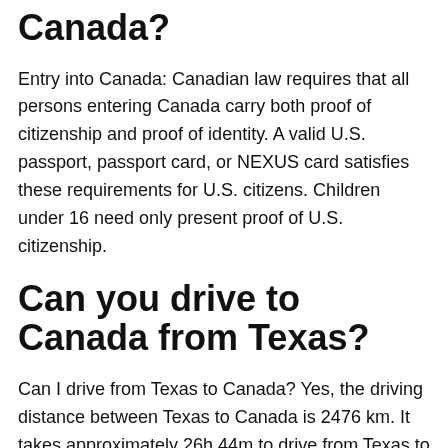Canada?
Entry into Canada: Canadian law requires that all persons entering Canada carry both proof of citizenship and proof of identity. A valid U.S. passport, passport card, or NEXUS card satisfies these requirements for U.S. citizens. Children under 16 need only present proof of U.S. citizenship.
Can you drive to Canada from Texas?
Can I drive from Texas to Canada? Yes, the driving distance between Texas to Canada is 2476 km. It takes approximately 26h 44m to drive from Texas to Canada.
What direction is America from